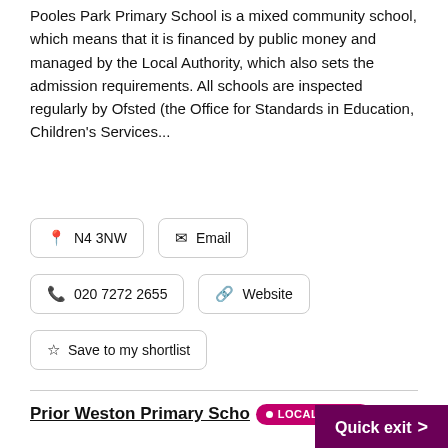Pooles Park Primary School is a mixed community school, which means that it is financed by public money and managed by the Local Authority, which also sets the admission requirements. All schools are inspected regularly by Ofsted (the Office for Standards in Education, Children's Services...
📍 N4 3NW
✉ Email
📞 020 7272 2655
🔗 Website
☆ Save to my shortlist
Prior Weston Primary School & Children's Centre • LOCAL OFFER